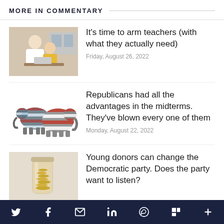MORE IN COMMENTARY
[Figure (photo): Teacher helping a student at a computer in a classroom]
It's time to arm teachers (with what they actually need)
Friday, August 26, 2022
[Figure (illustration): Two elephants decorated with American flag stripes pattern]
Republicans had all the advantages in the midterms. They've blown every one of them
Monday, August 22, 2022
[Figure (photo): A jar filled with coins on a light background]
Young donors can change the Democratic party. Does the party want to listen?
Social share icons: Twitter, Facebook, Email, LinkedIn, WhatsApp, Flipboard, More